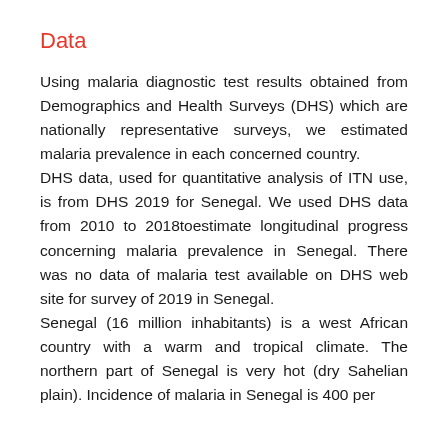Data
Using malaria diagnostic test results obtained from Demographics and Health Surveys (DHS) which are nationally representative surveys, we estimated malaria prevalence in each concerned country.
DHS data, used for quantitative analysis of ITN use, is from DHS 2019 for Senegal. We used DHS data from 2010 to 2018toestimate longitudinal progress concerning malaria prevalence in Senegal. There was no data of malaria test available on DHS web site for survey of 2019 in Senegal.
Senegal (16 million inhabitants) is a west African country with a warm and tropical climate. The northern part of Senegal is very hot (dry Sahelian plain). Incidence of malaria in Senegal is 400 per